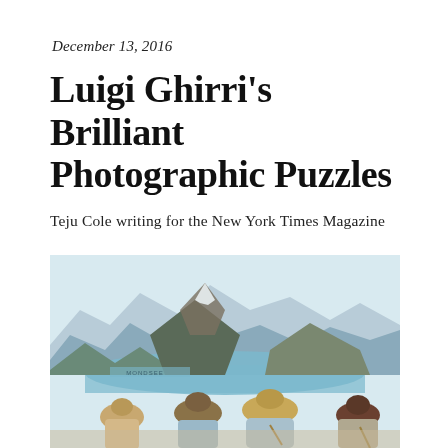December 13, 2016
Luigi Ghirri's Brilliant Photographic Puzzles
Teju Cole writing for the New York Times Magazine
[Figure (photo): Four people viewed from behind looking at a large illustrated map or panoramic diorama of a mountain lake landscape (appears to show Austrian Alps with a lake labeled 'MONDSEE'). The figures have 1970s-style hair and clothing. The image is in warm vintage color tones.]